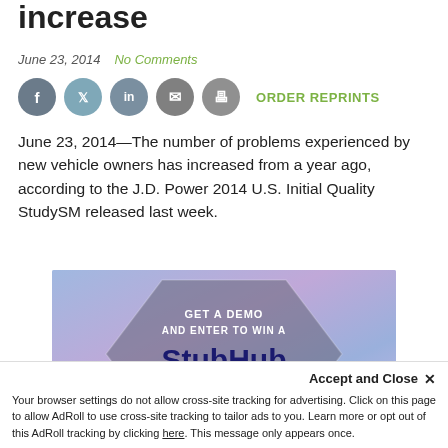increase
June 23, 2014    No Comments
[Figure (infographic): Social sharing icons: Facebook, Twitter, LinkedIn, Email, Print. ORDER REPRINTS link in green.]
June 23, 2014—The number of problems experienced by new vehicle owners has increased from a year ago, according to the J.D. Power 2014 U.S. Initial Quality StudySM released last week.
[Figure (photo): Advertisement for StubHub Experience: GET A DEMO AND ENTER TO WIN A StubHub Experience. CLICK FOR DETAILS.]
Accept and Close ×
Your browser settings do not allow cross-site tracking for advertising. Click on this page to allow AdRoll to use cross-site tracking to tailor ads to you. Learn more or opt out of this AdRoll tracking by clicking here. This message only appears once.